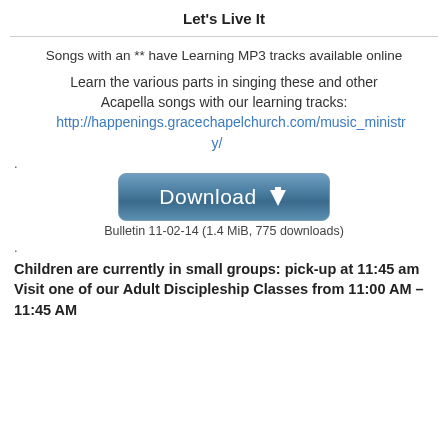Let's Live It
Songs with an ** have Learning MP3 tracks available online
Learn the various parts in singing these and other Acapella songs with our learning tracks:
http://happenings.gracechapelchurch.com/music_ministry/
[Figure (other): Download button with arrow icon]
Bulletin 11-02-14 (1.4 MiB, 775 downloads)
Children are currently in small groups: pick-up at 11:45 am
Visit one of our Adult Discipleship Classes from 11:00 AM – 11:45 AM